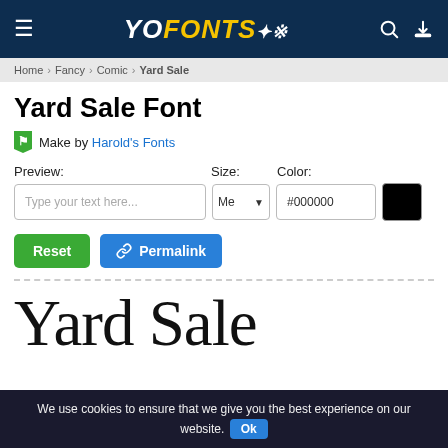YoFonts - Header navigation with logo, search, and download icons
Home > Fancy > Comic > Yard Sale
Yard Sale Font
Make by Harold's Fonts
Preview: Size: Color:
Type your text here... | Me | #000000
Reset | Permalink
[Figure (screenshot): Large font preview showing 'Yard Sale' text in a large serif/display font]
We use cookies to ensure that we give you the best experience on our website. Ok